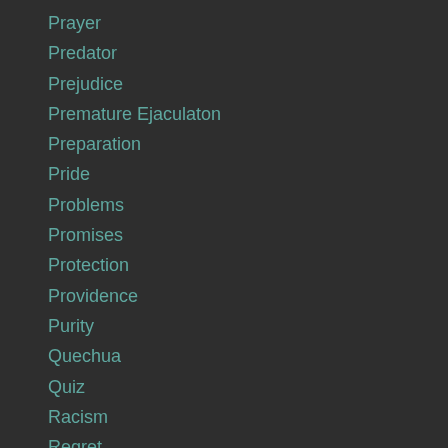Prayer
Predator
Prejudice
Premature Ejaculaton
Preparation
Pride
Problems
Promises
Protection
Providence
Purity
Quechua
Quiz
Racism
Regret
Religious
Repentance
Reputation
Research
Respect